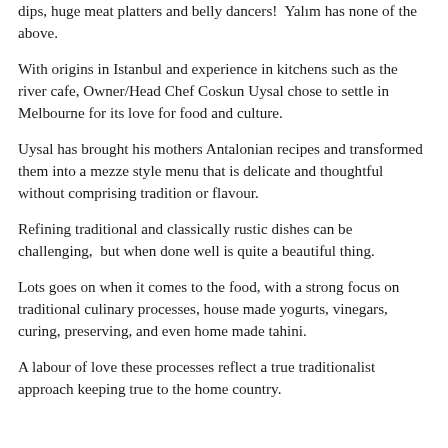dips, huge meat platters and belly dancers!  Yalım has none of the above.
With origins in Istanbul and experience in kitchens such as the river cafe, Owner/Head Chef Coskun Uysal chose to settle in Melbourne for its love for food and culture.
Uysal has brought his mothers Antalonian recipes and transformed them into a mezze style menu that is delicate and thoughtful without comprising tradition or flavour.
Refining traditional and classically rustic dishes can be challenging,  but when done well is quite a beautiful thing.
Lots goes on when it comes to the food, with a strong focus on traditional culinary processes, house made yogurts, vinegars, curing, preserving, and even home made tahini.
A labour of love these processes reflect a true traditionalist approach keeping true to the home country.